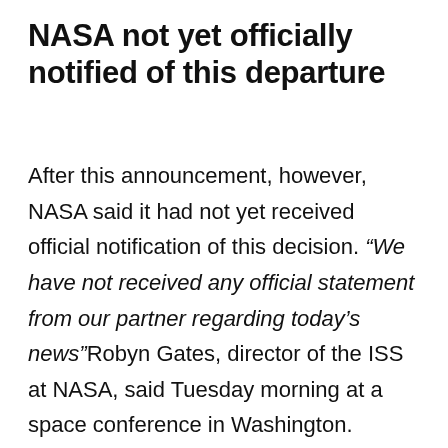NASA not yet officially notified of this departure
After this announcement, however, NASA said it had not yet received official notification of this decision. “We have not received any official statement from our partner regarding today’s news”Robyn Gates, director of the ISS at NASA, said Tuesday morning at a space conference in Washington.